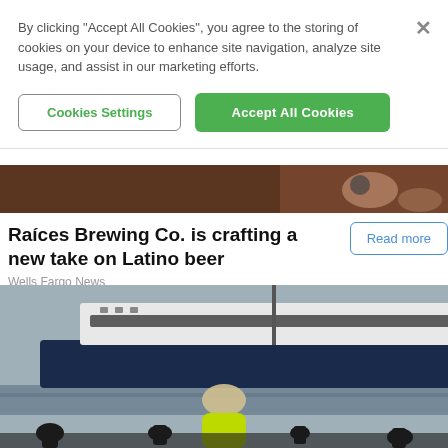By clicking "Accept All Cookies", you agree to the storing of cookies on your device to enhance site navigation, analyze site usage, and assist in our marketing efforts.
Cookies Settings
Accept All Cookies
[Figure (photo): Partial view of hands and dark background, top area of a webpage article image]
Raíces Brewing Co. is crafting a new take on Latino beer
Wells Fargo News
Read more
[Figure (photo): Man in neon yellow/green jacket standing at a waterfront with a large white ferry in the background, dock lamps in the foreground]